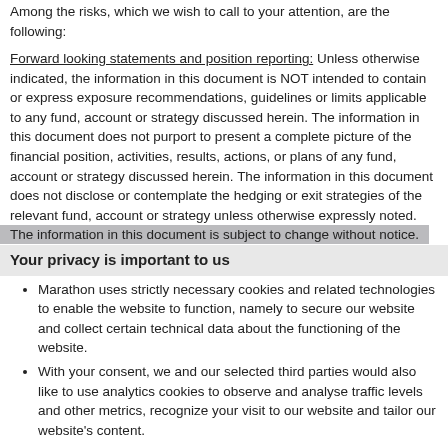Among the risks, which we wish to call to your attention, are the following:
Forward looking statements and position reporting: Unless otherwise indicated, the information in this document is NOT intended to contain or express exposure recommendations, guidelines or limits applicable to any fund, account or strategy discussed herein. The information in this document does not purport to present a complete picture of the financial position, activities, results, actions, or plans of any fund, account or strategy discussed herein. The information in this document does not disclose or contemplate the hedging or exit strategies of the relevant fund, account or strategy unless otherwise expressly noted. The information in this document is subject to change without notice.
Your privacy is important to us
Marathon uses strictly necessary cookies and related technologies to enable the website to function, namely to secure our website and collect certain technical data about the functioning of the website.
With your consent, we and our selected third parties would also like to use analytics cookies to observe and analyse traffic levels and other metrics, recognize your visit to our website and tailor our website's content.
Neither we nor our third parties use cookies for any marketing